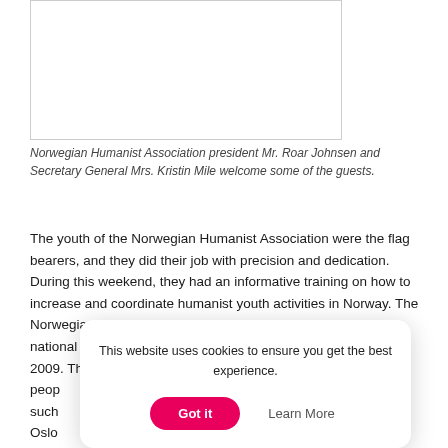[Figure (photo): Photo of Norwegian Humanist Association president Mr. Roar Johnsen and Secretary General Mrs. Kristin Mile welcoming guests]
Norwegian Humanist Association president Mr. Roar Johnsen and Secretary General Mrs. Kristin Mile welcome some of the guests.
The youth of the Norwegian Humanist Association were the flag bearers, and they did their job with precision and dedication. During this weekend, they had an informative training on how to increase and coordinate humanist youth activities in Norway. The Norwegian Humanist Association has set the goal to have a national youth wing, in complete function and established by 2009. The current active young people … or such … the Oslo … larly basis…
This website uses cookies to ensure you get the best experience.